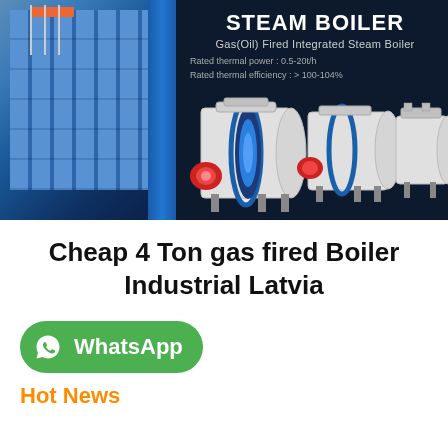[Figure (illustration): Steam boiler product banner showing industrial building on left with flags, dark navy background, large bold 'STEAM BOILER' heading, subtitle 'Gas(Oil) Fired Integrated Steam Boiler', specs for rated thermal power 0.5-20t/h and rated thermal efficiency >100-104%, and three horizontal cylindrical gas-fired steam boilers shown in the center-right area.]
Cheap 4 Ton gas fired Boiler Industrial Latvia
[Figure (logo): WhatsApp button: green rounded rectangle with WhatsApp phone icon and text 'WhatsApp']
Hot News